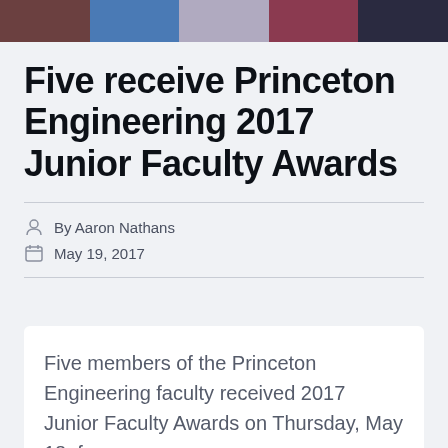[Figure (photo): Photo strip showing five Princeton Engineering faculty members at top of page]
Five receive Princeton Engineering 2017 Junior Faculty Awards
By Aaron Nathans
May 19, 2017
Five members of the Princeton Engineering faculty received 2017 Junior Faculty Awards on Thursday, May 18, for